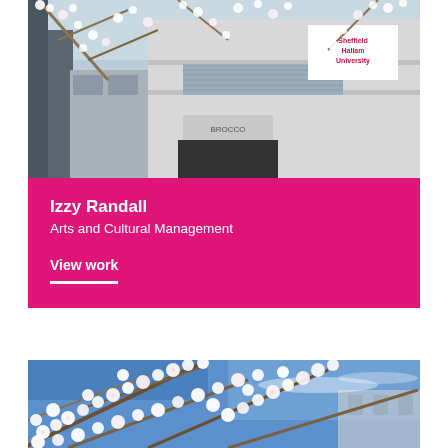[Figure (photo): Exterior photograph of Sheffield Hallam University building with cherry blossom trees in the foreground, showing the university signage on the white building facade.]
Izzy Randall
Arts and Cultural Management
View work
[Figure (photo): Close-up photograph of white cherry blossom branches against a blue sky, with a building visible in the background.]